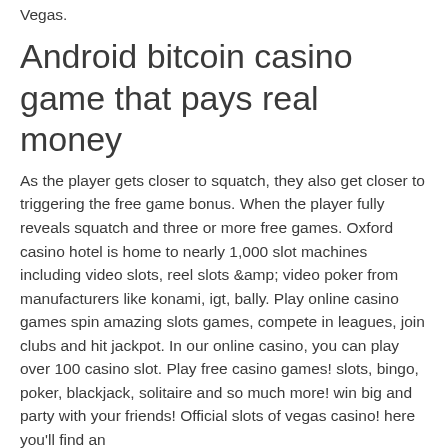Vegas.
Android bitcoin casino game that pays real money
As the player gets closer to squatch, they also get closer to triggering the free game bonus. When the player fully reveals squatch and three or more free games. Oxford casino hotel is home to nearly 1,000 slot machines including video slots, reel slots &amp; video poker from manufacturers like konami, igt, bally. Play online casino games spin amazing slots games, compete in leagues, join clubs and hit jackpot. In our online casino, you can play over 100 casino slot. Play free casino games! slots, bingo, poker, blackjack, solitaire and so much more! win big and party with your friends! Official slots of vegas casino! here you'll find an